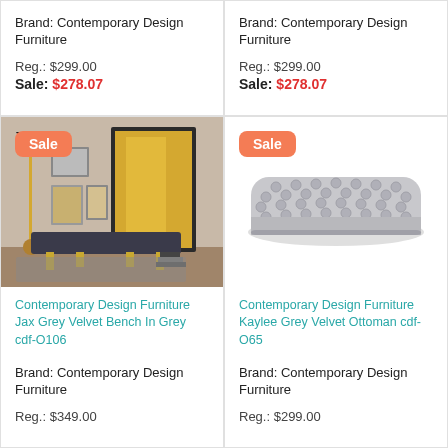Brand: Contemporary Design Furniture
Reg.: $299.00
Sale: $278.07
Brand: Contemporary Design Furniture
Reg.: $299.00
Sale: $278.07
[Figure (photo): Interior scene with dark velvet bench, gold floor lamp, mirror, framed wall art on beige wall]
[Figure (photo): Grey tufted velvet rectangular ottoman on white background]
Contemporary Design Furniture Jax Grey Velvet Bench In Grey cdf-O106
Contemporary Design Furniture Kaylee Grey Velvet Ottoman cdf-O65
Brand: Contemporary Design Furniture
Reg.: $349.00
Brand: Contemporary Design Furniture
Reg.: $299.00